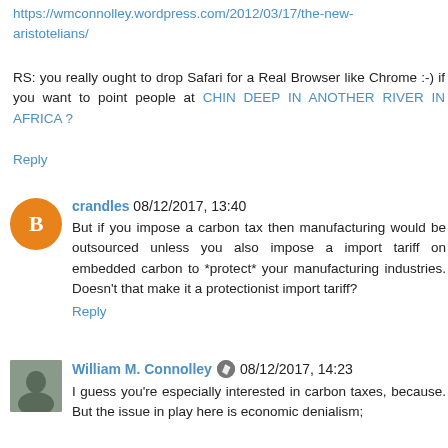https://wmconnolley.wordpress.com/2012/03/17/the-new-aristotelians/
RS: you really ought to drop Safari for a Real Browser like Chrome :-) if you want to point people at CHIN DEEP IN ANOTHER RIVER IN AFRICA ?
Reply
crandles 08/12/2017, 13:40
But if you impose a carbon tax then manufacturing would be outsourced unless you also impose a import tariff on embedded carbon to *protect* your manufacturing industries. Doesn't that make it a protectionist import tariff?
Reply
William M. Connolley 08/12/2017, 14:23
I guess you're especially interested in carbon taxes, because. But the issue in play here is economic denialism;